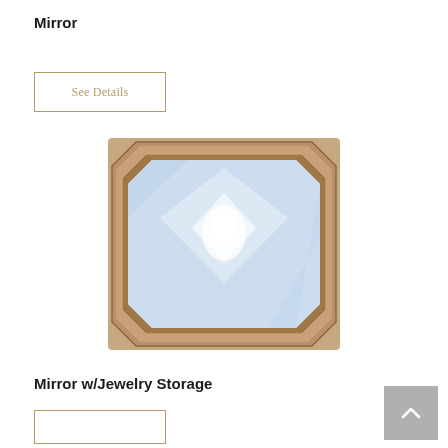Mirror
See Details
[Figure (photo): A square mirror with beveled octagonal bronze/brown frame. The mirror glass reflects light with a bright central highlight, showing a light blue-white reflection. The frame has chamfered corners.]
Mirror w/Jewelry Storage
See Details